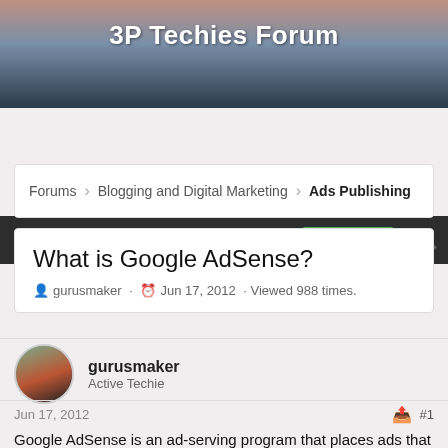3P Techies Forum
Log in  Register
Forums > Blogging and Digital Marketing > Ads Publishing
What is Google AdSense?
gurusmaker · Jun 17, 2012 · Viewed 988 times.
gurusmaker
Active Techie
Jun 17, 2012  #1
Google AdSense is an ad-serving program that places ads that ? make sense? ?
specifically, that make sense based on relevant content, and